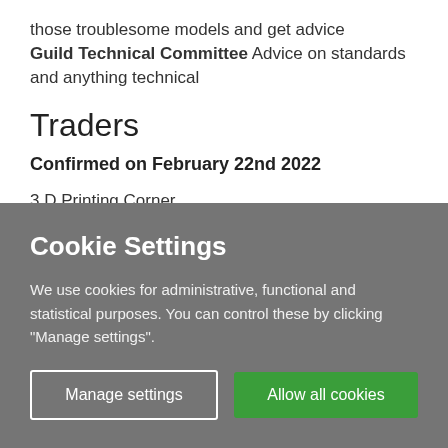those troublesome models and get advice Guild Technical Committee Advice on standards and anything technical
Traders
Confirmed on February 22nd 2022
3 D Printing Corner
Ace Products
Cookie Settings
We use cookies for administrative, functional and statistical purposes. You can control these by clicking "Manage settings".